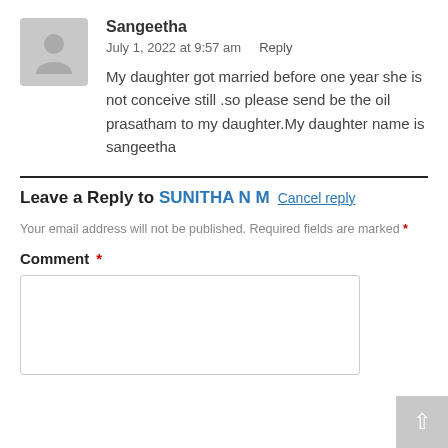[Figure (illustration): Generic user avatar icon, grey background with silhouette of a person]
Sangeetha
July 1, 2022 at 9:57 am   Reply
My daughter got married before one year she is not conceive still .so please send be the oil prasatham to my daughter.My daughter name is sangeetha
Leave a Reply to SUNITHA N M  Cancel reply
Your email address will not be published. Required fields are marked *
Comment *